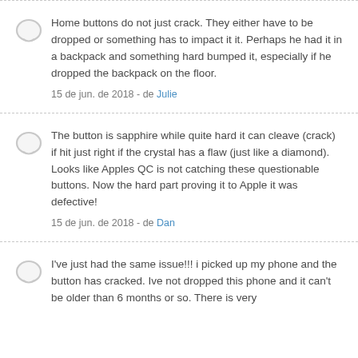Home buttons do not just crack. They either have to be dropped or something has to impact it it. Perhaps he had it in a backpack and something hard bumped it, especially if he dropped the backpack on the floor.
15 de jun. de 2018 - de Julie
The button is sapphire while quite hard it can cleave (crack) if hit just right if the crystal has a flaw (just like a diamond). Looks like Apples QC is not catching these questionable buttons. Now the hard part proving it to Apple it was defective!
15 de jun. de 2018 - de Dan
I've just had the same issue!!! i picked up my phone and the button has cracked. Ive not dropped this phone and it can't be older than 6 months or so. There is very